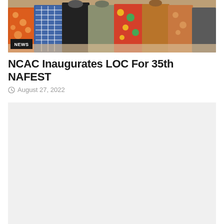[Figure (photo): Group photo of people in colorful traditional Nigerian attire standing together, with a NEWS badge overlay in the bottom-left corner of the image]
NCAC Inaugurates LOC For 35th NAFEST
August 27, 2022
[Figure (photo): Large light gray placeholder area below the article metadata, representing a second image or content block]